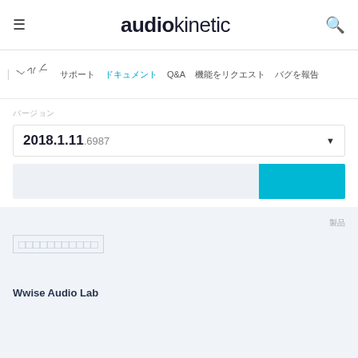audiokinetic
ヘルプ | サポート　ドキュメント　Q&A　機能をリクエスト　バグを報告
バージョン
2018.1.11.6987
Wwise Audio Lab